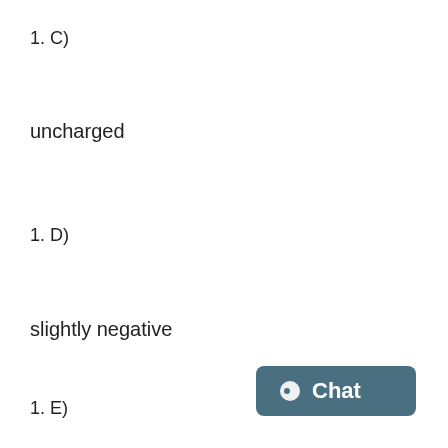1. C)
uncharged
1. D)
slightly negative
1. E)